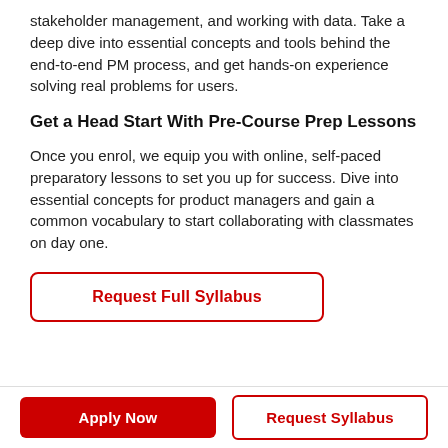stakeholder management, and working with data. Take a deep dive into essential concepts and tools behind the end-to-end PM process, and get hands-on experience solving real problems for users.
Get a Head Start With Pre-Course Prep Lessons
Once you enrol, we equip you with online, self-paced preparatory lessons to set you up for success. Dive into essential concepts for product managers and gain a common vocabulary to start collaborating with classmates on day one.
Request Full Syllabus
Apply Now
Request Syllabus